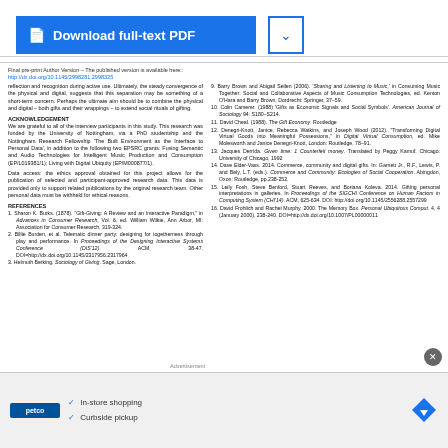Download full-text PDF
Final pre-print Author Version – The published version is available here:: http://dx.doi.org/10.1145/2998281.2998325
reflection and recognition during active use. Ultimately, the steady convergence of the physical and digital, suggests that this separation may be something of a short-term concern. Perhaps the ultimate aim should be to combine the physical and digital – both gifts and their wrappings – to extend social rituals of gifting.
ACKNOWLEDGEMENT
We are grateful to all of the interview participants in this study. This research was funded by the University of Nottingham, via a PhD studentship and the Nottingham Research Fellowship 'The Built Environment as the Interface to Personal Data', in addition to the following two EPSRC grants: Fusing Semantic and Audio Technologies for Intelligent Music Production and Consumption (EP/L019381/1); Living with Digital Ubiquity (EP/M000877/1).
Data access: the ethics approval obtained for this project allows for the publication of selected and participant-approved research data. This data is provided only to support related publications by the original research team. Other personal data must be withheld for ethical reasons.
REFERENCES
1. Sharon K. Burks. (1878). "Gift-Giving: A Review and an Interactive Paradigm," in Advances in Consumer Research, Vol. 6, ed. William Wilkie, Ann Arbor, MI: Association for Consumer Research, 319-324.
2. Billie Burden, et al. Telematic dinner party: designing for togetherness through play and performance. In Proceedings of the Designing Interactive Systems Conference (DIS'12). ACM, 38-47. DOI=http://dx.doi.org/10.1145/2317956.2317964
3. Helmuth Berking. Sociology of Giving. Sage, London.
9. Barry Brown and Abigail Sellen (2006). 'Sharing and Listening to Music,' in Consuming Music Together: Social and Collaborative Aspects of Music Consumption Technologies, ed. Kenton O'Hara and Barry Brown, Dordrecht: Springer, 37–59.
10. Colin Camerer. (1988) 'Gifts as Economic Signals and Social Symbols'. American Journal of Sociology 94: S180–S214.
11. David Cheal. (1988). The Gift Economy. Routledge
12. Deneuil-Knott, Janice, Rebecca Watkins, and Joseph Wood (2012). "Transforming Digital Virtual Goods into Meaningful Possessions," in Digital Virtual Consumption, ed. Mike Molesworth and Janice Denegri-Knott, London: Routledge, 78–91.
13. Jacques Derrida. Given time: 1 Counterfeit money. Translated by Peggy Kamuf. Chicago: University of Chicago, 1992
14. Dave Elder-Vass. 2014. Commerce, community and digital gifts. In: Garnett Jr., R.F., Lewis, P. and Bely, L.T. (eds.). Commerce and Community: Ecologies of Social Cooperation. Abingdon, Oxon: Routledge, pp.238-252.
15. Leily Fosh, Steve Benford, Stuart Reeves, and Boriana Koleva. 2014. Gifting personal interpretations in galleries. In Proceedings of the SIGCHI Conference on Human Factors in Computing System (CHI'14). ACM, 625-634. DOI: http://doi.org/10.1145/2556288.2557299
16. David Frohlich and Rachel Murphy. 2000. The Memory Box. Personal Ubiquitous Comput. 4, 4 (January 2000), 238-240. DOI=http://dx.doi.org/10.1007/PL00000011